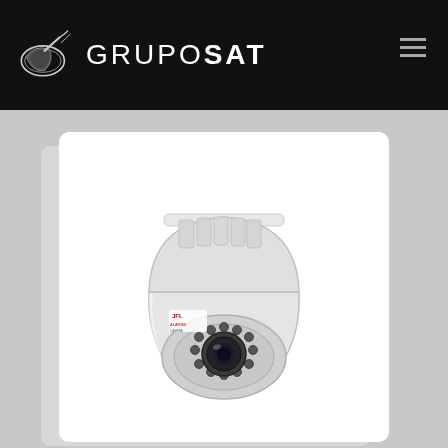[Figure (logo): GRUPOSAT logo with satellite dish icon on black header bar]
[Figure (photo): White dome/turret security camera (JFL brand) with IR LEDs, shown on a white product card with grey card shadow behind it, on a grey background]